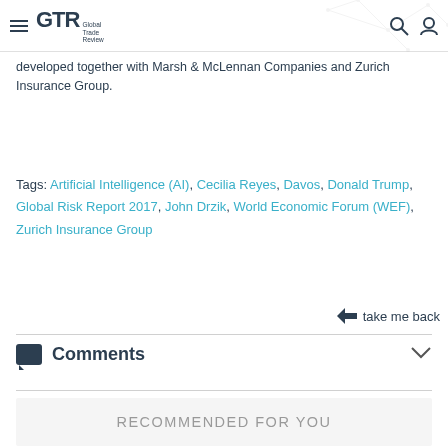GTR Global Trade Review
developed together with Marsh & McLennan Companies and Zurich Insurance Group.
Tags: Artificial Intelligence (AI), Cecilia Reyes, Davos, Donald Trump, Global Risk Report 2017, John Drzik, World Economic Forum (WEF), Zurich Insurance Group
take me back
Comments
RECOMMENDED FOR YOU